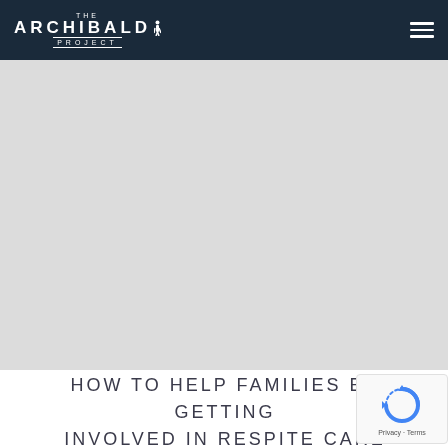THE ARCHIBALD PROJECT
[Figure (photo): Large light gray placeholder image area below the navigation bar, representing a hero/banner image]
HOW TO HELP FAMILIES BY GETTING INVOLVED IN RESPITE CARE